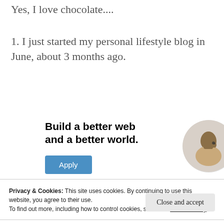Yes, I love chocolate....
1. I just started my personal lifestyle blog in June, about 3 months ago.
[Figure (infographic): WordPress advertisement banner reading 'Build a better web and a better world.' with an Apply button and a circular photo of a man thinking.]
Privacy & Cookies: This site uses cookies. By continuing to use this website, you agree to their use.
To find out more, including how to control cookies, see here: Cookie Policy
Close and accept